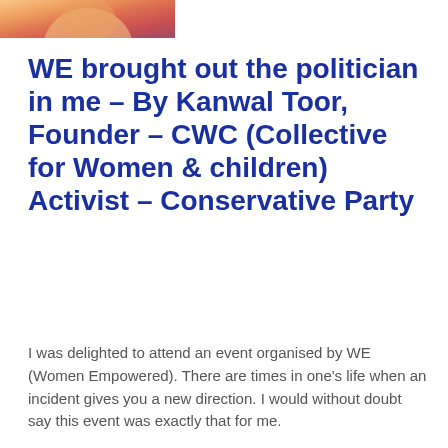[Figure (photo): Cropped top portion of a person's photo, showing part of a face and colorful clothing.]
WE brought out the politician in me – By Kanwal Toor, Founder – CWC (Collective for Women & children) Activist – Conservative Party
I was delighted to attend an event organised by WE (Women Empowered). There are times in one's life when an incident gives you a new direction. I would without doubt say this event was exactly that for me.
I met some very interesting people that evening including Ameet Jogia, Kulveer Ranger and Amandeep Bhogal. Since the event Aman has then taken on the arduous task of mentoring me in the political work I now do for the Conservative party. I always knew I was a conservative by